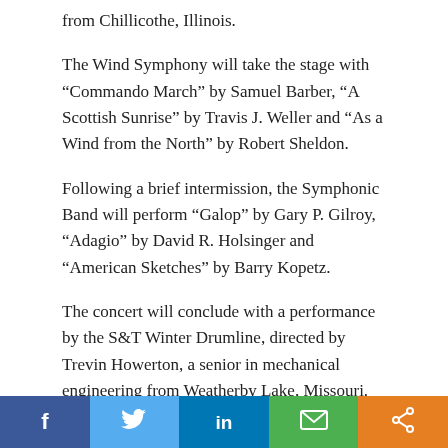from Chillicothe, Illinois.
The Wind Symphony will take the stage with “Commando March” by Samuel Barber, “A Scottish Sunrise” by Travis J. Weller and “As a Wind from the North” by Robert Sheldon.
Following a brief intermission, the Symphonic Band will perform “Galop” by Gary P. Gilroy, “Adagio” by David R. Holsinger and “American Sketches” by Barry Kopetz.
The concert will conclude with a performance by the S&T Winter Drumline, directed by Trevin Howerton, a senior in mechanical engineering from Weatherby Lake, Missouri.
Tickets are $5 for the general public and free for Missouri S&T students who present a valid ID, and youth age 18 and younger. Tickets can be purchased 9 a.m. to 4 p.m. Monday through Friday in the Leach Theatre Box Office located in the vestibule of the main entrance of Castleman Hall, facing 10th Street, or by calling 573-341-4219.